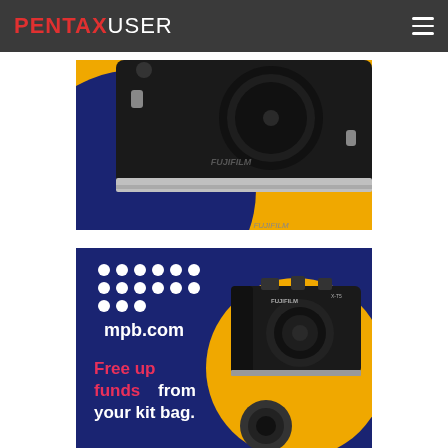PENTAXUSER
[Figure (photo): Close-up photo of a Fujifilm camera body in black with lens cap on, set against a yellow and dark blue circular background on a yellow surface. This appears to be an MPB advertisement banner.]
[Figure (photo): MPB advertisement banner with dark navy blue background. Features MPB dot grid logo, text 'mpb.com', 'Free up funds from your kit bag.' in white and pink, alongside a Fujifilm X-T5 mirrorless camera on a yellow circular background with lens accessories.]